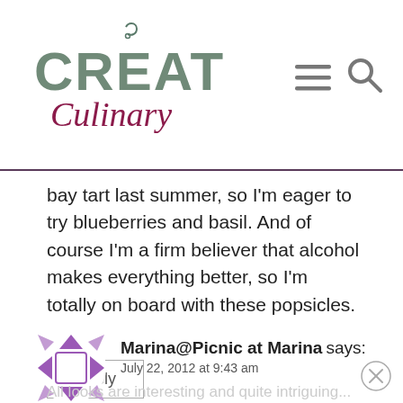Creative Culinary
bay tart last summer, so I'm eager to try blueberries and basil. And of course I'm a firm believer that alcohol makes everything better, so I'm totally on board with these popsicles.
Reply
Marina@Picnic at Marina says: July 22, 2012 at 9:43 am
All looks are interesting and quite intriguing...